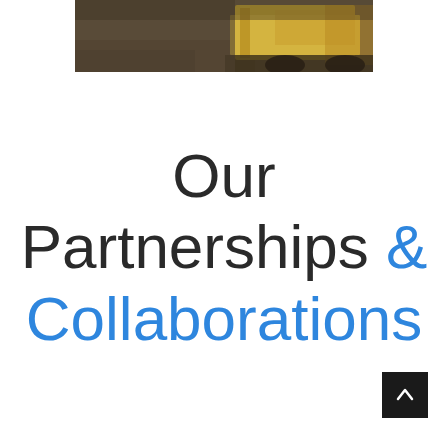[Figure (photo): Partial view of heavy mining or construction machinery (yellow/gold colored) on a dirt ground, photographed from a low angle. The image is cropped at the top of the page.]
Our Partnerships & Collaborations
[Figure (other): Black square button with white upward arrow icon (back-to-top button), positioned in the bottom right corner.]